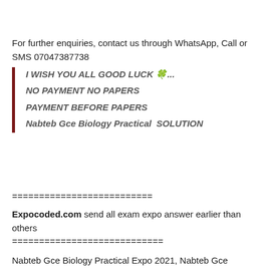For further enquiries, contact us through WhatsApp, Call or SMS 07047387738
I WISH YOU ALL GOOD LUCK 🍀...
NO PAYMENT NO PAPERS
PAYMENT BEFORE PAPERS
Nabteb Gce Biology Practical  SOLUTION
==========================
Expocoded.com send all exam expo answer earlier than others
============================
Nabteb Gce Biology Practical Expo 2021, Nabteb Gce